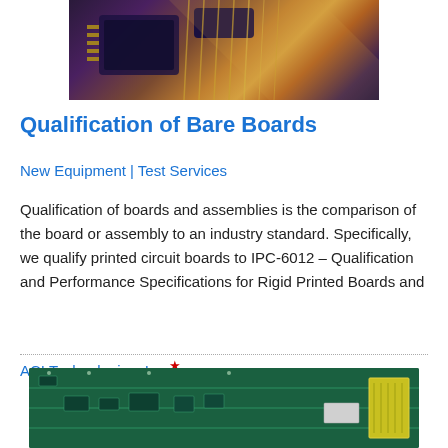[Figure (photo): Close-up photo of a microchip/integrated circuit with gold and purple/dark tones]
Qualification of Bare Boards
New Equipment | Test Services
Qualification of boards and assemblies is the comparison of the board or assembly to an industry standard. Specifically, we qualify printed circuit boards to IPC-6012 – Qualification and Performance Specifications for Rigid Printed Boards and
ACI Technologies, Inc.*
[Figure (photo): Photo of a green printed circuit board (PCB) with various components and traces]